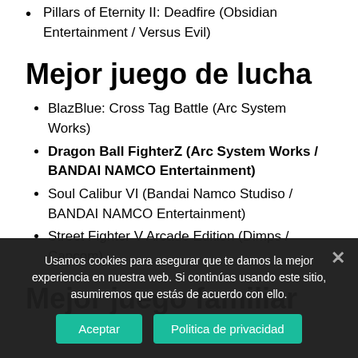Pillars of Eternity II: Deadfire (Obsidian Entertainment / Versus Evil)
Mejor juego de lucha
BlazBlue: Cross Tag Battle (Arc System Works)
Dragon Ball FighterZ (Arc System Works / BANDAI NAMCO Entertainment)
Soul Calibur VI (Bandai Namco Studiso / BANDAI NAMCO Entertainment)
Street Fighter V Arcade Edition (Dimps / Capcom)
Mejor juego familiar
Usamos cookies para asegurar que te damos la mejor experiencia en nuestra web. Si continúas usando este sitio, asumiremos que estás de acuerdo con ello.